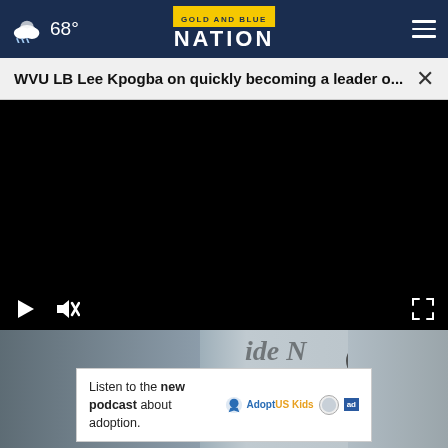Gold and Blue Nation — 68°
WVU LB Lee Kpogba on quickly becoming a leader o...
[Figure (screenshot): Black video player with play and mute controls on bottom left, fullscreen icon on bottom right]
[Figure (photo): Partial outdoor scene with people and text visible, overlaid with an advertisement banner]
Listen to the new podcast about adoption.